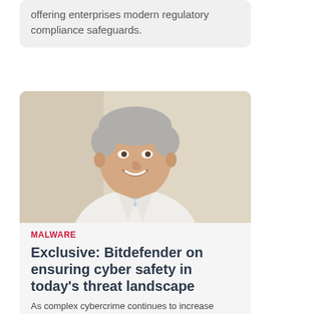offering enterprises modern regulatory compliance safeguards.
[Figure (photo): Portrait photo of a middle-aged man with short grey hair, wearing a white blazer and light blue shirt, smiling, photographed against a light beige/cream background.]
MALWARE
Exclusive: Bitdefender on ensuring cyber safety in today's threat landscape
As complex cybercrime continues to increase across the globe,